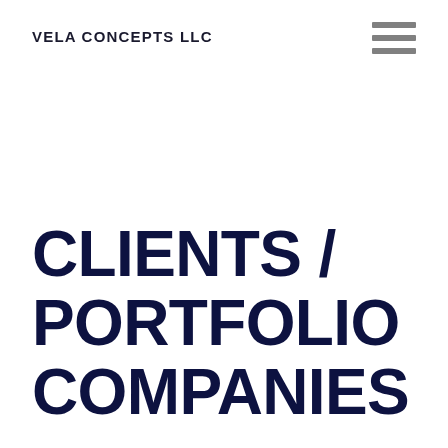VELA CONCEPTS LLC
[Figure (other): Hamburger menu icon with three horizontal gray bars]
CLIENTS / PORTFOLIO COMPANIES